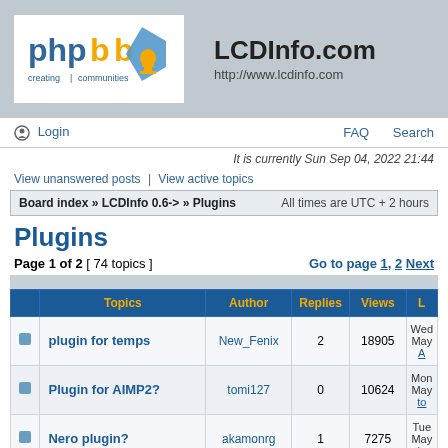[Figure (logo): phpBB logo - creating communities]
LCDInfo.com
http://www.lcdinfo.com
Login   FAQ   Search
It is currently Sun Sep 04, 2022 21:44
View unanswered posts | View active topics
Board index » LCDInfo 0.6-> » Plugins   All times are UTC + 2 hours
Plugins
Page 1 of 2  [ 74 topics ]   Go to page 1, 2  Next
| Topics | Author | Replies | Views | L |
| --- | --- | --- | --- | --- |
| plugin for temps | New_Fenix | 2 | 18905 | Wed May A |
| Plugin for AIMP2? | tomi127 | 0 | 10624 | Mon May to |
| Nero plugin? | akamonrg | 1 | 7275 | Tue May je |